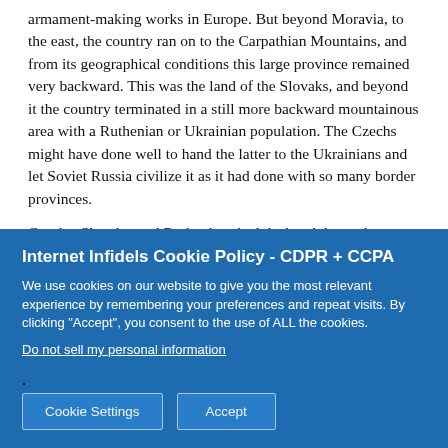armament-making works in Europe. But beyond Moravia, to the east, the country ran on to the Carpathian Mountains, and from its geographical conditions this large province remained very backward. This was the land of the Slovaks, and beyond it the country terminated in a still more backward mountainous area with a Ruthenian or Ukrainian population. The Czechs might have done well to hand the latter to the Ukrainians and let Soviet Russia civilize it as it had done with so many border provinces.
Czechs, Slovaks, and Ruthenians had declared themselves an independent republic in 1918, when Austria collapsed, and Versailles had confirmed their position. It was a lively team to drive, including 6,000,000 Czechs, 3,000,000 Slovaks, 3,000,000 Germans, and more than a million Magyars and
Internet Infidels Cookie Policy - CDPR + CCPA
We use cookies on our website to give you the most relevant experience by remembering your preferences and repeat visits. By clicking "Accept", you consent to the use of ALL the cookies.
Do not sell my personal information.